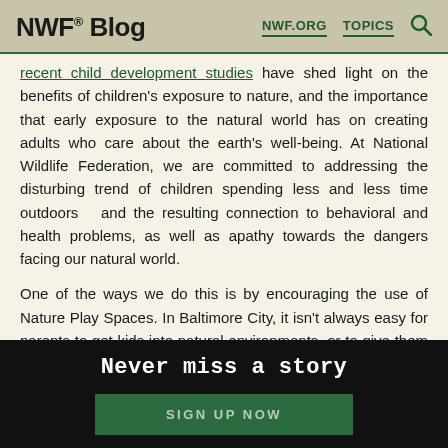NWF® Blog  NWF.ORG  TOPICS
recent child development studies have shed light on the benefits of children's exposure to nature, and the importance that early exposure to the natural world has on creating adults who care about the earth's well-being. At National Wildlife Federation, we are committed to addressing the disturbing trend of children spending less and less time outdoors  and the resulting connection to behavioral and health problems, as well as apathy towards the dangers facing our natural world.

One of the ways we do this is by encouraging the use of Nature Play Spaces. In Baltimore City, it isn't always easy for parents to get kids into natural environments, or to give them the opportunity to explore green spaces and forests. Children often
Never miss a story
SIGN UP NOW